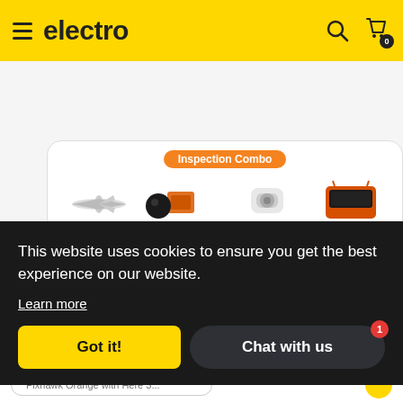electro
[Figure (screenshot): Inspection Combo product banner showing AYK-250 drone, Pixhawk Cube Orange with Here 3, Seeker 30TR camera, and MX16 remote controller]
Product Showcase
This website uses cookies to ensure you get the best experience on our website.
Learn more
Got it!
Chat with us
Pixhawk Orange with Here 3...